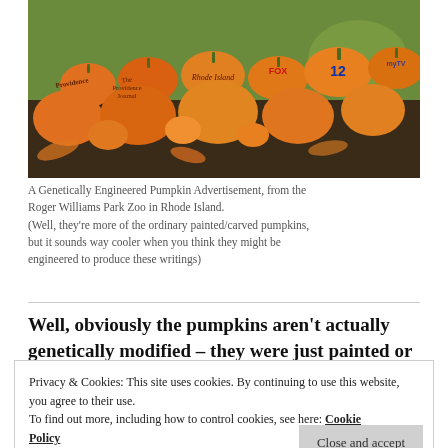[Figure (photo): A group of painted/carved pumpkins on the ground, many featuring logos and text such as Providence, Rhode Island, Fox, 12, myTV. Taken at Roger Williams Park Zoo in Rhode Island.]
A Genetically Engineered Pumpkin Advertisement, from the Roger Williams Park Zoo in Rhode Island.
(Well, they're more of the ordinary painted/carved pumpkins, but it sounds way cooler when you think they might be engineered to produce these writings)
Well, obviously the pumpkins aren't actually genetically modified – they were just painted or
Privacy & Cookies: This site uses cookies. By continuing to use this website, you agree to their use.
To find out more, including how to control cookies, see here: Cookie Policy